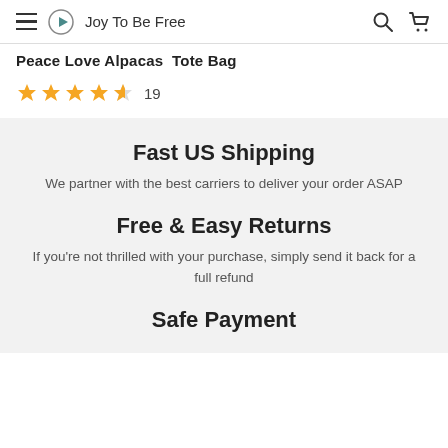Joy To Be Free
Peace Love Alpacas  Tote Bag
★★★★½ 19
Fast US Shipping
We partner with the best carriers to deliver your order ASAP
Free & Easy Returns
If you're not thrilled with your purchase, simply send it back for a full refund
Safe Payment